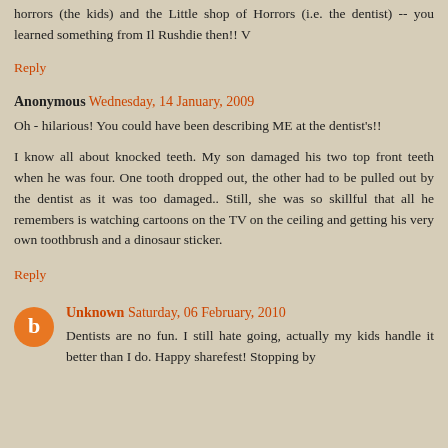horrors (the kids) and the Little shop of Horrors (i.e. the dentist) -- you learned something from Il Rushdie then!! V
Reply
Anonymous Wednesday, 14 January, 2009
Oh - hilarious! You could have been describing ME at the dentist's!!
I know all about knocked teeth. My son damaged his two top front teeth when he was four. One tooth dropped out, the other had to be pulled out by the dentist as it was too damaged.. Still, she was so skillful that all he remembers is watching cartoons on the TV on the ceiling and getting his very own toothbrush and a dinosaur sticker.
Reply
Unknown Saturday, 06 February, 2010
Dentists are no fun. I still hate going, actually my kids handle it better than I do. Happy sharefest! Stopping by